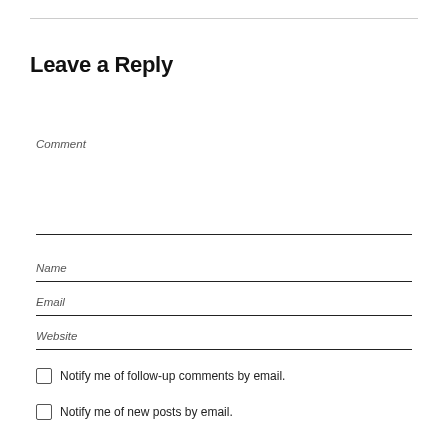Leave a Reply
Comment
Name
Email
Website
Notify me of follow-up comments by email.
Notify me of new posts by email.